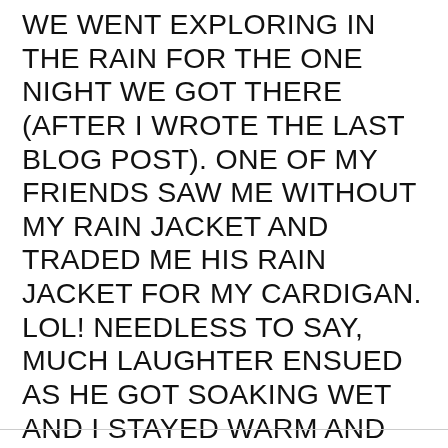WE WENT EXPLORING IN THE RAIN FOR THE ONE NIGHT WE GOT THERE (AFTER I WROTE THE LAST BLOG POST). ONE OF MY FRIENDS SAW ME WITHOUT MY RAIN JACKET AND TRADED ME HIS RAIN JACKET FOR MY CARDIGAN. LOL! NEEDLESS TO SAY, MUCH LAUGHTER ENSUED AS HE GOT SOAKING WET AND I STAYED WARM AND DRY. MY FRIENDS ARE GREAT.